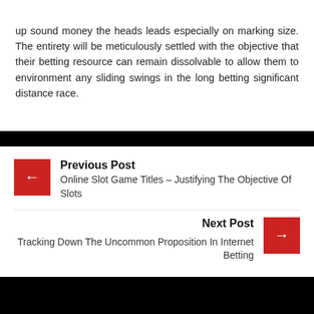up sound money the heads leads especially on marking size. The entirety will be meticulously settled with the objective that their betting resource can remain dissolvable to allow them to environment any sliding swings in the long betting significant distance race.
Previous Post
Online Slot Game Titles – Justifying The Objective Of Slots
Next Post
Tracking Down The Uncommon Proposition In Internet Betting